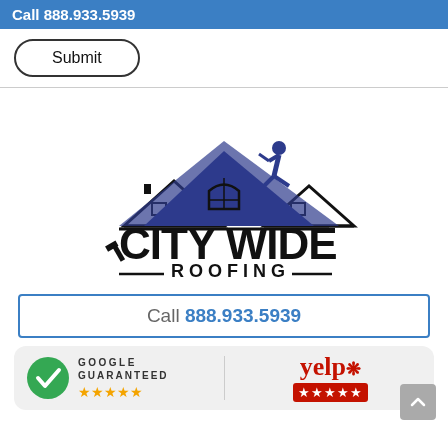Call 888.933.5939
Submit
[Figure (logo): City Wide Roofing logo with house rooftop silhouette and worker figure in navy blue and black]
Call 888.933.5939
[Figure (infographic): Google Guaranteed badge with green checkmark and 5 orange stars, and Yelp logo with 5 red stars]